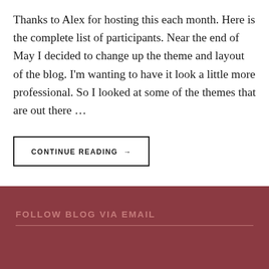Thanks to Alex for hosting this each month. Here is the complete list of participants. Near the end of May I decided to change up the theme and layout of the blog. I'm wanting to have it look a little more professional. So I looked at some of the themes that are out there …
CONTINUE READING →
FOLLOW BLOG VIA EMAIL